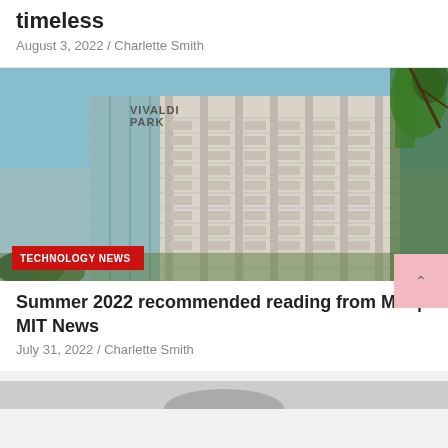timeless
August 3, 2022 / Charlette Smith
[Figure (photo): Large multi-story hotel/resort building (Vivaldi Park) with blue sky and trees, with a red TECHNOLOGY NEWS badge overlay at bottom left]
TECHNOLOGY NEWS
Summer 2022 recommended reading from MIT | MIT News
July 31, 2022 / Charlette Smith